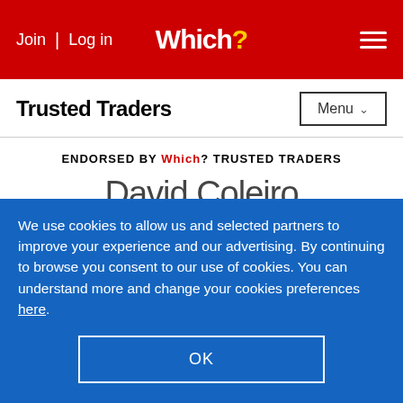Join | Log in  Which?  [menu]
Trusted Traders
ENDORSED BY Which? TRUSTED TRADERS
David Coleiro
We use cookies to allow us and selected partners to improve your experience and our advertising. By continuing to browse you consent to our use of cookies. You can understand more and change your cookies preferences here.
OK